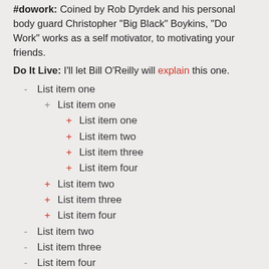#dowork: Coined by Rob Dyrdek and his personal body guard Christopher "Big Black" Boykins, "Do Work" works as a self motivator, to motivating your friends.
Do It Live: I'll let Bill O'Reilly will explain this one.
List item one
List item one
List item one
List item two
List item three
List item four
List item two
List item three
List item four
List item two
List item three
List item four